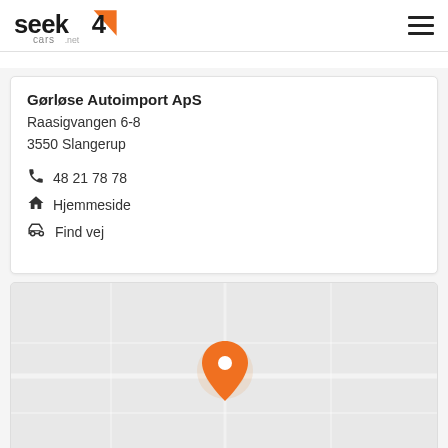seek4cars.net
Gørløse Autoimport ApS
Raasigvangen 6-8
3550 Slangerup
48 21 78 78
Hjemmeside
Find vej
[Figure (map): Map with orange location pin marker centered on dealer location in Slangerup, Denmark]